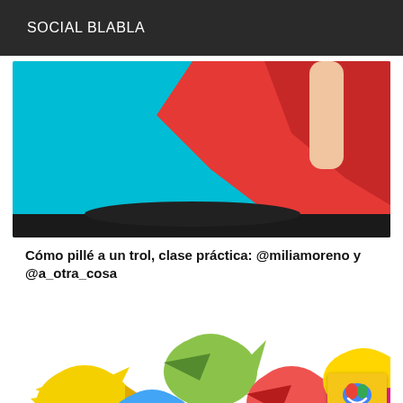SOCIAL BLABLA
[Figure (photo): Person in red top with arm raised and finger pointing upward against cyan/teal background]
Cómo pillé a un trol, clase práctica: @miliamoreno y @a_otra_cosa
[Figure (photo): Multiple colorful bird silhouettes (yellow, green, blue, red, orange, magenta) held up by hands against white background, with a reCAPTCHA badge overlay in bottom right]